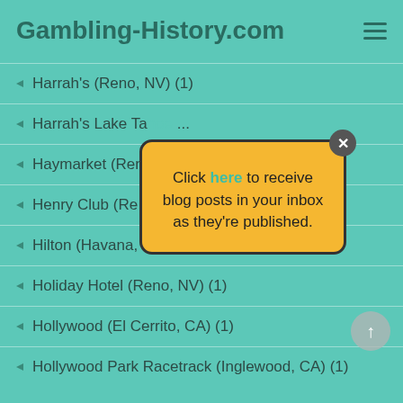Gambling-History.com
Harrah's (Reno, NV) (1)
Harrah's Lake Ta... (partially obscured)
Haymarket (Ren... (partially obscured)
Henry Club (Re... (partially obscured)
Hilton (Havana, Cuba) (1)
Holiday Hotel (Reno, NV) (1)
Hollywood (El Cerrito, CA) (1)
Hollywood Park Racetrack (Inglewood, CA) (1)
[Figure (other): Popup modal with yellow background showing 'Click here to receive blog posts in your inbox as they’re published.' with a close X button in the top right corner.]